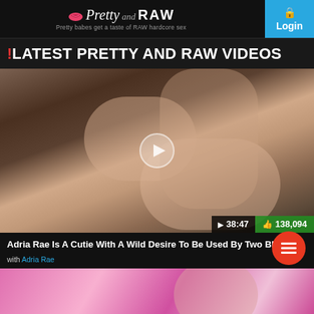Pretty and RAW — Pretty babes get a taste of RAW hardcore sex — Login
LATEST PRETTY AND RAW VIDEOS
[Figure (photo): Video thumbnail showing adult content with duration badge 38:47 and likes badge 138,094]
Adria Rae Is A Cutie With A Wild Desire To Be Used By Two Bbcs
with Adria Rae
[Figure (photo): Partially visible second video thumbnail with pink background]